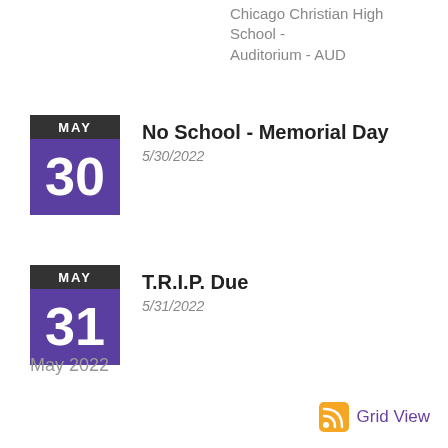Chicago Christian High School - Auditorium - AUD
No School - Memorial Day
5/30/2022
T.R.I.P. Due
5/31/2022
May 2022
Grid View